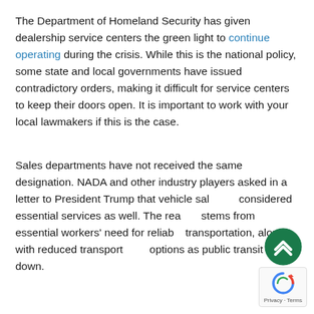The Department of Homeland Security has given dealership service centers the green light to continue operating during the crisis. While this is the national policy, some state and local governments have issued contradictory orders, making it difficult for service centers to keep their doors open. It is important to work with your local lawmakers if this is the case.
Sales departments have not received the same designation. NADA and other industry players asked in a letter to President Trump that vehicle sales be considered essential services as well. The reason stems from essential workers' need for reliable transportation, along with reduced transportation options as public transit shuts down.